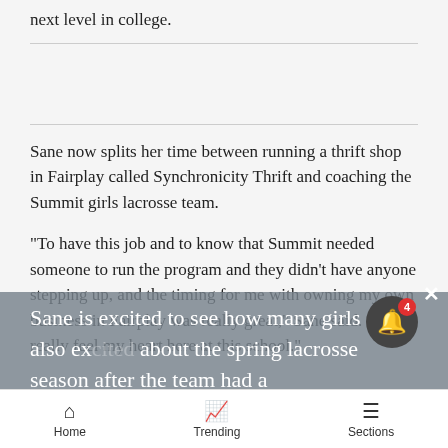next level in college.
Sane now splits her time between running a thrift shop in Fairplay called Synchronicity Thrift and coaching the Summit girls lacrosse team.
“To have this job and to know that Summit needed someone to run the program and they didn’t have anyone stepping up, and the timing for me with owning my own business in Fairplay was really great,” Sane said. “I really feel my heart here at this school.”
Sane is excited to see how many girls are also excited about the spring lacrosse season after the team had a
Home   Trending   Sections